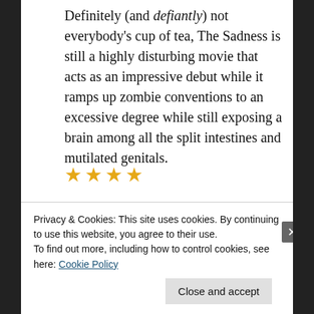Definitely (and defiantly) not everybody's cup of tea, The Sadness is still a highly disturbing movie that acts as an impressive debut while it ramps up zombie conventions to an excessive degree while still exposing a brain among all the split intestines and mutilated genitals.
[Figure (other): Four orange/gold star rating icons indicating a 4-star review]
Advertisements
[Figure (screenshot): Advertisement banner with beige background showing the word 'Professionally' in large serif font]
Privacy & Cookies: This site uses cookies. By continuing to use this website, you agree to their use.
To find out more, including how to control cookies, see here: Cookie Policy
Close and accept